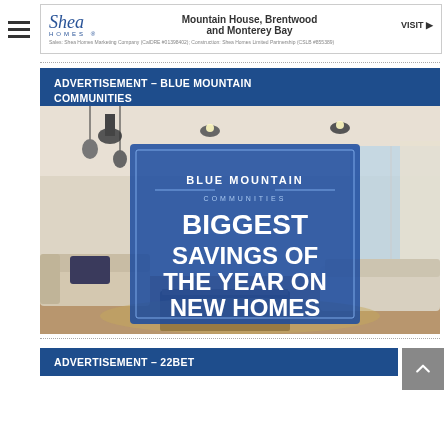[Figure (illustration): Shea Homes advertisement banner with script logo, text 'Mountain House, Brentwood and Monterey Bay', VISIT link, and disclaimer text]
ADVERTISEMENT – BLUE MOUNTAIN COMMUNITIES
[Figure (photo): Blue Mountain Communities advertisement showing a modern living room interior with text overlay: 'BLUE MOUNTAIN COMMUNITIES – BIGGEST SAVINGS OF THE YEAR ON NEW HOMES']
ADVERTISEMENT – 22BET